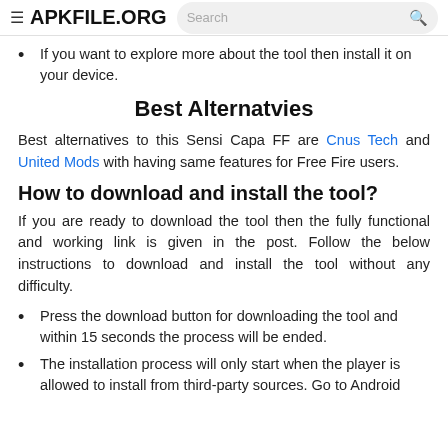≡ APKFILE.ORG  [Search]
If you want to explore more about the tool then install it on your device.
Best Alternatvies
Best alternatives to this Sensi Capa FF are Cnus Tech and United Mods with having same features for Free Fire users.
How to download and install the tool?
If you are ready to download the tool then the fully functional and working link is given in the post. Follow the below instructions to download and install the tool without any difficulty.
Press the download button for downloading the tool and within 15 seconds the process will be ended.
The installation process will only start when the player is allowed to install from third-party sources. Go to Android